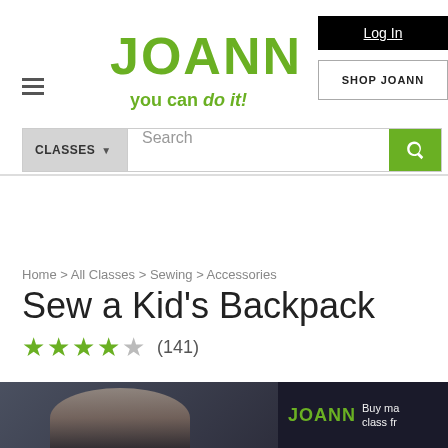[Figure (logo): JOANN logo with tagline 'you can do it!' in green, hamburger menu icon, Log In button, and Shop JOANN button]
[Figure (screenshot): Search bar with CLASSES dropdown and search field with green search icon button]
Home > All Classes > Sewing > Accessories
Sew a Kid's Backpack
★★★★☆ (141)
[Figure (photo): Bottom strip showing a child with a backpack and a JOANN advertisement panel with text 'Buy ma... class fr...']